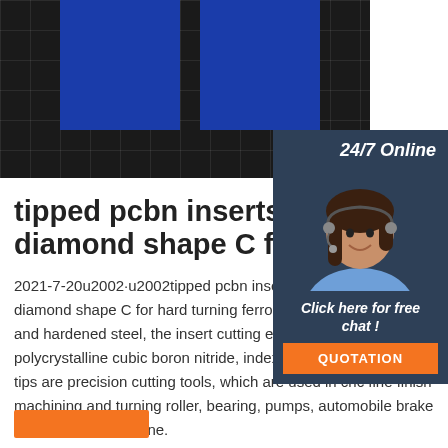[Figure (illustration): Dark 3D rendered scene with a grid floor and two large blue rectangular blocks/panels standing upright, overlaid by a customer service chat widget on the right showing a woman with a headset]
tipped pcbn inserts in 80 de diamond shape C for hard ..
2021-7-20u2002·u2002tipped pcbn inserts in 80 degree diamond shape C for hard turning ferrous metals of cast iron and hardened steel, the insert cutting edges are made with polycrystalline cubic boron nitride, indexable inserts with cbn tips are precision cutting tools, which are used in cnc fine finish machining and turning roller, bearing, pumps, automobile brake disk, aircraft jet engine.